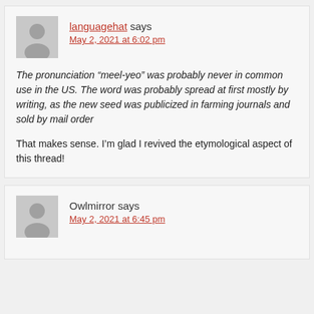languagehat says May 2, 2021 at 6:02 pm
The pronunciation “meel-yeo” was probably never in common use in the US. The word was probably spread at first mostly by writing, as the new seed was publicized in farming journals and sold by mail order
That makes sense. I’m glad I revived the etymological aspect of this thread!
Owlmirror says May 2, 2021 at 6:45 pm